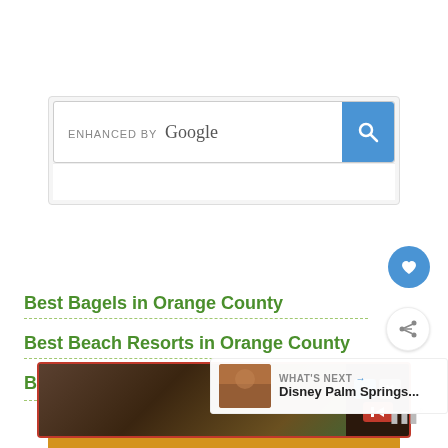[Figure (screenshot): Google custom search bar with 'ENHANCED BY Google' label and blue search button]
PAGES
Best Bagels in Orange County
Best Beach Resorts in Orange County
Best Lawn & Outdoor Games
[Figure (screenshot): WHAT'S NEXT arrow with Disney Palm Springs... thumbnail]
[Figure (screenshot): Video advertisement banner with red border and playback controls]